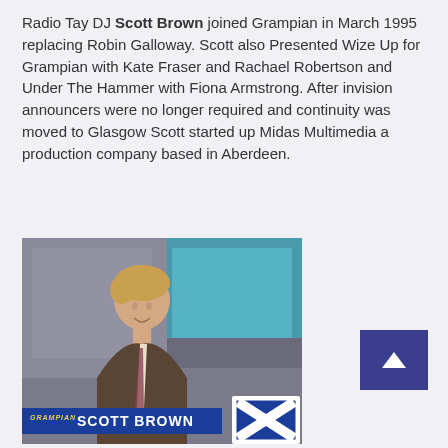Radio Tay DJ Scott Brown joined Grampian in March 1995 replacing Robin Galloway. Scott also Presented Wize Up for Grampian with Kate Fraser and Rachael Robertson and Under The Hammer with Fiona Armstrong. After invision announcers were no longer required and continuity was moved to Glasgow Scott started up Midas Multimedia a production company based in Aberdeen.
[Figure (photo): A TV screenshot of Scott Brown presenting for Grampian TV. He is a young man with light brown hair wearing a brown suit and patterned tie, sitting at a desk. The lower third graphic reads 'GRAMPIAN SCOTT BROWN' in white/yellow text on a blue background. A Grampian TV logo (blue X on white square) is visible in the lower right.]